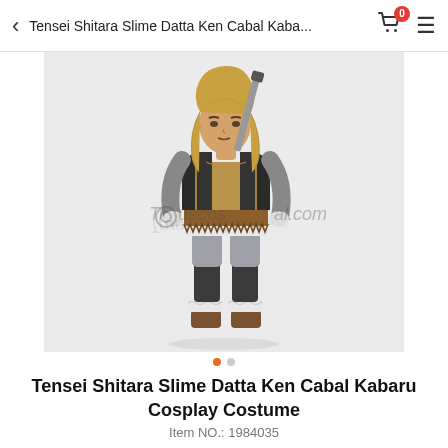Tensei Shitara Slime Datta Ken Cabal Kaba...
[Figure (illustration): Anime character illustration of Kabaru from Tensei Shitara Slime Datta Ken, wearing a black jacket over a brown shirt with a fur-trimmed skirt, gray pants, black boots with fur trim, and a sword on the back. Watermark overlay reads 'Truecosplay.com'. Background is light gray.]
Tensei Shitara Slime Datta Ken Cabal Kabaru Cosplay Costume
Item NO.: 1984035